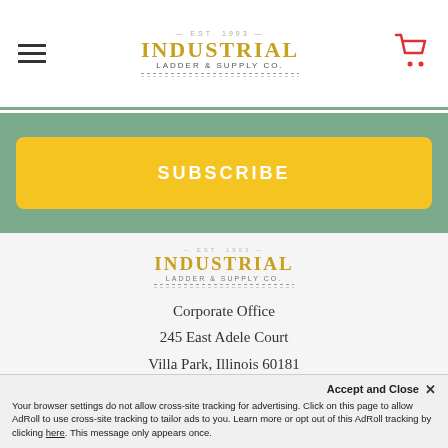Industrial Ladder & Supply Co. — EST. 1993
SUBSCRIBE
[Figure (logo): Industrial Ladder & Supply Co. logo, centered, gold text]
Corporate Office
245 East Adele Court
Villa Park, Illinois 60181
USA
Call us at 877-451-9532
Accept and Close ✕
Your browser settings do not allow cross-site tracking for advertising. Click on this page to allow AdRoll to use cross-site tracking to tailor ads to you. Learn more or opt out of this AdRoll tracking by clicking here. This message only appears once.